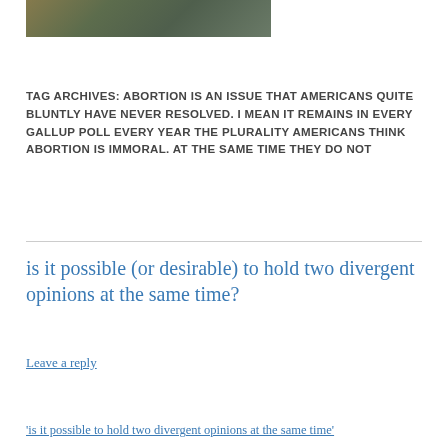[Figure (photo): Partial image of a building/structure with gold and dark tones, cropped at top of page]
TAG ARCHIVES: ABORTION IS AN ISSUE THAT AMERICANS QUITE BLUNTLY HAVE NEVER RESOLVED. I MEAN IT REMAINS IN EVERY GALLUP POLL EVERY YEAR THE PLURALITY AMERICANS THINK ABORTION IS IMMORAL. AT THE SAME TIME THEY DO NOT
is it possible (or desirable) to hold two divergent opinions at the same time?
Leave a reply
'is it possible to hold two divergent opinions at the same time'